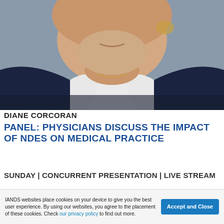[Figure (photo): Close-up portrait photo of Diane Corcoran, a woman wearing a dark navy blazer with a white collar shirt, smiling, photographed against a grey background.]
DIANE CORCORAN
PANEL: PHYSICIANS DISCUSS THE IMPACT OF NDES ON MEDICAL PRACTICE
SUNDAY | CONCURRENT PRESENTATION | LIVE STREAM
IANDS websites place cookies on your device to give you the best user experience. By using our websites, you agree to the placement of these cookies. Check our privacy policy to find out more.